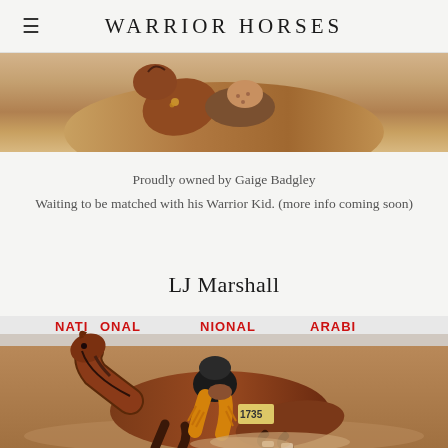Warrior Horses
[Figure (photo): Partial photo of horse with rider, top portion visible, warm brown tones]
Proudly owned by Gaige Badgley
Waiting to be matched with his Warrior Kid. (more info coming soon)
LJ Marshall
[Figure (photo): Horse and rider competing in an arena reining event, bay horse in a sliding stop, number 1735, banner reading NATIONAL ARABI in background]